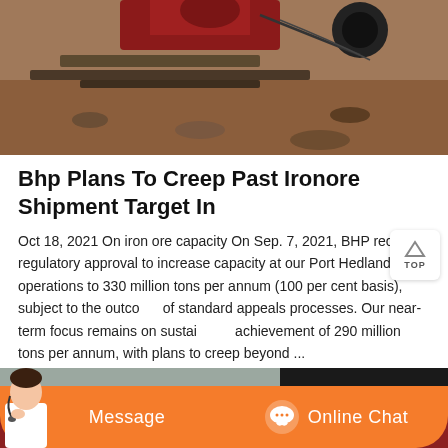[Figure (photo): Industrial mining/crushing equipment on a worksite with red machinery, steel beams, cables, and rocky ground]
Bhp Plans To Creep Past Ironore Shipment Target In
Oct 18, 2021 On iron ore capacity On Sep. 7, 2021, BHP received regulatory approval to increase capacity at our Port Hedland operations to 330 million tons per annum (100 per cent basis), subject to the outcome of standard appeals processes. Our near-term focus remains on sustainable achievement of 290 million tons per annum, with plans to creep beyond ...
[Figure (photo): Red iron ore rail car/wagon on railway tracks viewed from low angle with people visible on top]